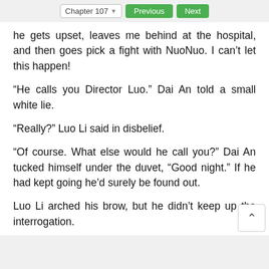Chapter 107  Previous  Next
he gets upset, leaves me behind at the hospital, and then goes pick a fight with NuoNuo. I can’t let this happen!
“He calls you Director Luo.” Dai An told a small white lie.
“Really?” Luo Li said in disbelief.
“Of course. What else would he call you?” Dai An tucked himself under the duvet, “Good night.” If he had kept going he’d surely be found out.
Luo Li arched his brow, but he didn’t keep up the interrogation.